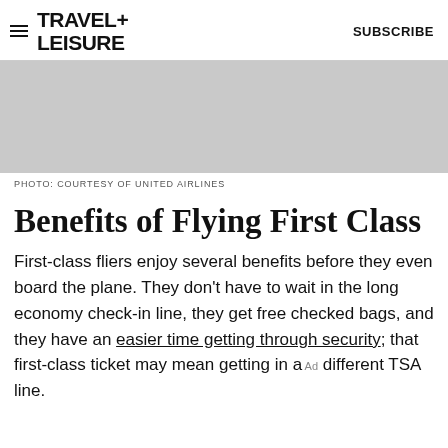TRAVEL+ LEISURE   SUBSCRIBE
[Figure (photo): Gray placeholder image, photo courtesy of United Airlines]
PHOTO: COURTESY OF UNITED AIRLINES
Benefits of Flying First Class
First-class fliers enjoy several benefits before they even board the plane. They don't have to wait in the long economy check-in line, they get free checked bags, and they have an easier time getting through security; that first-class ticket may mean getting in a different TSA line.